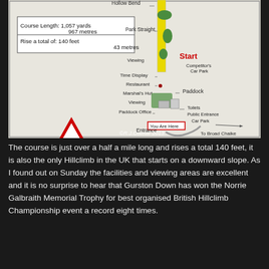[Figure (map): Course map of Gurston Down hillclimb venue showing track layout, Start position, Hollow Bend, Park Straight, Viewing areas, Time Display, Restaurant, Marshal's Hut, Paddock Office, Paddock, Toilets, Public Entrance, Car Park, Entrance, and To Broad Chalke. Includes a table showing Course Length: 1,057 yards / 967 metres and Rise a total of: 140 feet / 43 metres. A red triangular warning sign states WARNING MOTOR SPORT CAN BE DANGEROUS. A red box marks 'You Are Here'. Watermark: ©R.J.Colmar 2013.]
The course is just over a half a mile long and rises a total 140 feet, it is also the only Hillclimb in the UK that starts on a downward slope. As I found out on Sunday the facilities and viewing areas are excellent and it is no surprise to hear that Gurston Down has won the Norrie Galbraith Memorial Trophy for best organised British Hillclimb Championship event a record eight times.